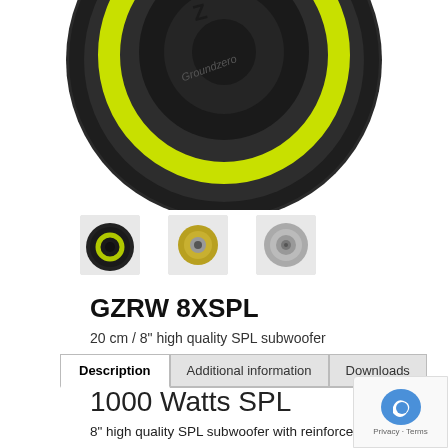[Figure (photo): Close-up product photo of a GZRW 8XSPL subwoofer speaker, showing black cone with yellow/green accent ring, top-down angle.]
[Figure (photo): Three thumbnail images of the speaker product from different angles: angled view, top view of tweeter/magnet, and front face view.]
GZRW 8XSPL
20 cm / 8" high quality SPL subwoofer
Description | Additional information | Downloads
1000 Watts SPL
8" high quality SPL subwoofer with reinforced paper
8" high quality SPL subwoofer
Klippel® optimized